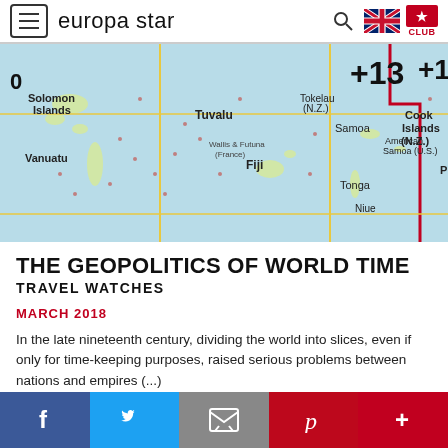europa star
[Figure (map): Map of Pacific Ocean region showing time zones +13 and +14, with Solomon Islands, Vanuatu, Fiji, Tuvalu, Tokelau (N.Z.), Samoa, American Samoa (U.S.), Wallis & Futuna (France), Tonga, Niue, Cook Islands (N.Z.) labeled]
THE GEOPOLITICS OF WORLD TIME
TRAVEL WATCHES
MARCH 2018
In the late nineteenth century, dividing the world into slices, even if only for time-keeping purposes, raised serious problems between nations and empires (...)